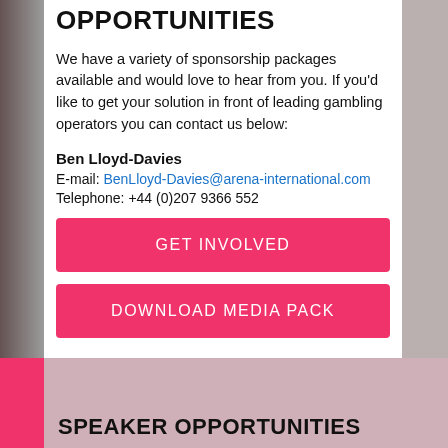OPPORTUNITIES
We have a variety of sponsorship packages available and would love to hear from you. If you'd like to get your solution in front of leading gambling operators you can contact us below:
Ben Lloyd-Davies
E-mail: BenLloyd-Davies@arena-international.com
Telephone: +44 (0)207 9366 552
GET INVOLVED
DOWNLOAD MEDIA PACK
SPEAKER OPPORTUNITIES